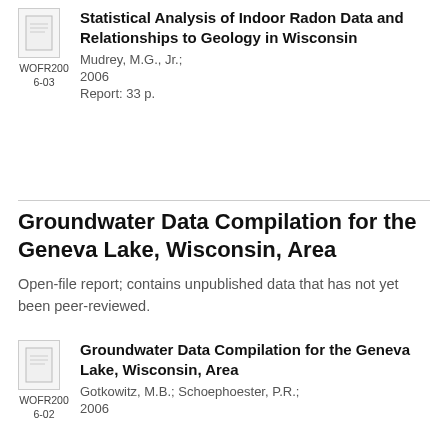[Figure (other): Thumbnail image of document with ID WOFR2006-03]
Statistical Analysis of Indoor Radon Data and Relationships to Geology in Wisconsin
Mudrey, M.G., Jr.;
2006
Report: 33 p.
Groundwater Data Compilation for the Geneva Lake, Wisconsin, Area
Open-file report; contains unpublished data that has not yet been peer-reviewed.
[Figure (other): Thumbnail image of document with ID WOFR2006-02]
Groundwater Data Compilation for the Geneva Lake, Wisconsin, Area
Gotkowitz, M.B.; Schoephoester, P.R.;
2006